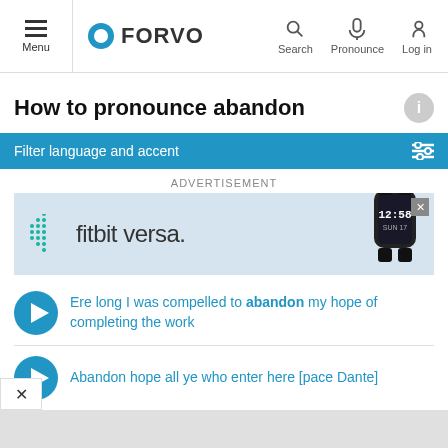Menu | FORVO | Search | Pronounce | Log in
How to pronounce abandon
Filter language and accent
ADVERTISEMENT
[Figure (screenshot): Fitbit Versa advertisement banner with logo and smartwatch image]
Ere long I was compelled to abandon my hope of completing the work
Abandon hope all ye who enter here [pace Dante]